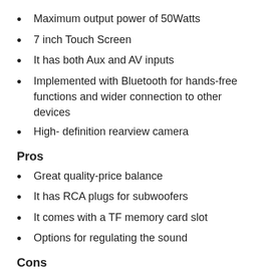Maximum output power of 50Watts
7 inch Touch Screen
It has both Aux and AV inputs
Implemented with Bluetooth for hands-free functions and wider connection to other devices
High- definition rearview camera
Pros
Great quality-price balance
It has RCA plugs for subwoofers
It comes with a TF memory card slot
Options for regulating the sound
Cons
Can be a little harder to install, and some vehicles might require a special kit to successfully position it